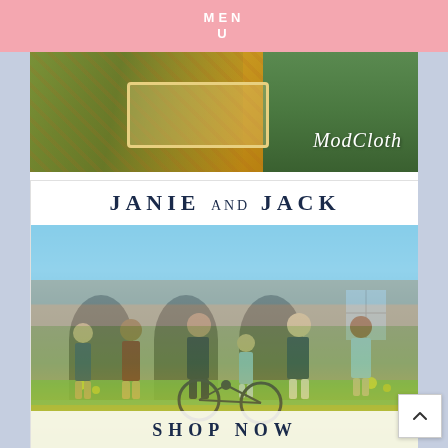MENU
[Figure (photo): ModCloth clothing advertisement showing floral dress fabric with lace trim details and the ModCloth logo in italic script on a green/teal background]
[Figure (photo): Janie and Jack children's clothing advertisement showing six children dressed in preppy/school outfits standing in front of a stone castle building with arches, on a grassy lawn with yellow flowers and a bicycle. A 'SHOP NOW' call-to-action overlay appears at the bottom.]